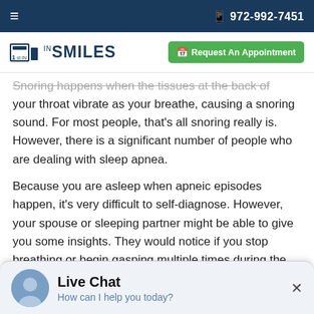☰  📱 972-992-7451
[Figure (logo): 1st In Smiles dental practice logo with green Request An Appointment button]
Snoring happens when the tissues at the back of your throat vibrate as your breathe, causing a snoring sound. For most people, that's all snoring really is. However, there is a significant number of people who are dealing with sleep apnea.
Because you are asleep when apneic episodes happen, it's very difficult to self-diagnose. However, your spouse or sleeping partner might be able to give you some insights. They would notice if you stop breathing or begin gasping multiple times during the night. Other things to look for include:
Feeling tired after a night's rest
Live Chat — How can I help you today?